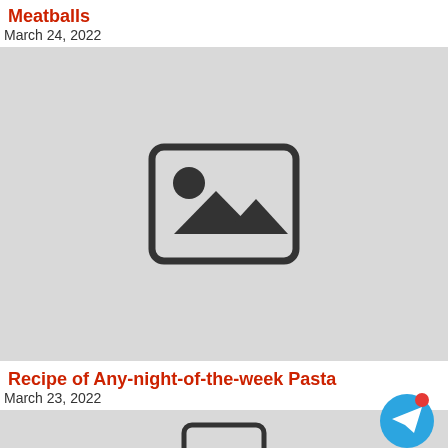Meatballs
March 24, 2022
[Figure (photo): Placeholder image with mountain and sun icon on grey background]
Recipe of Any-night-of-the-week Pasta
March 23, 2022
[Figure (photo): Partial placeholder image on grey background with Telegram notification button overlay]